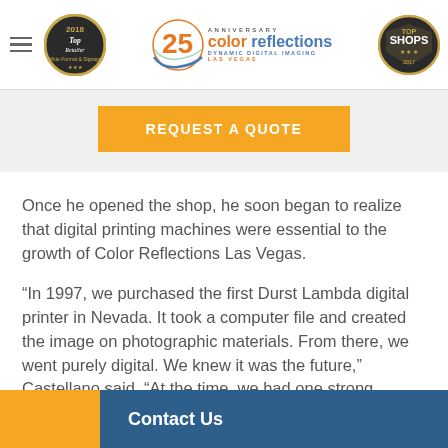Color Reflections Las Vegas — 25th Anniversary — Top Shops
REQUEST A QUOTE
Once he opened the shop, he soon began to realize that digital printing machines were essential to the growth of Color Reflections Las Vegas.
“In 1997, we purchased the first Durst Lambda digital printer in Nevada. It took a computer file and created the image on photographic materials. From there, we went purely digital. We knew it was the future,” Castellano said. “At the time, we had one strong
Contact Us